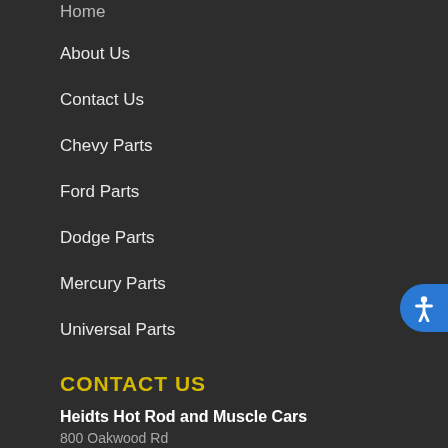Home
About Us
Contact Us
Chevy Parts
Ford Parts
Dodge Parts
Mercury Parts
Universal Parts
CONTACT US
Heidts Hot Rod and Muscle Cars
800 Oakwood Rd
Lake Zurich, IL – 60047
For all technical questions or for other inquiries about or products, please CALL 1-800-841-8188